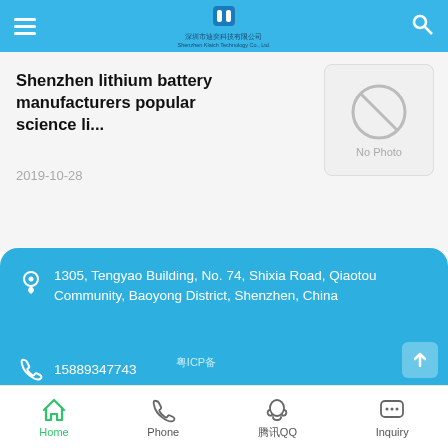Shenzhen Klaich Technology Co., Ltd. — mobile website header
Shenzhen lithium battery manufacturers popular science li...
2019-10-28
[Figure (photo): No Photo placeholder image with diagonal slash circle icon]
1305, Tengyao Building, No. 74, Shixia Road, Qiaotou Community, Baoyong District, Shenzhen, China
15889347743
1216626689@qq.com
http://m.en.tykjdc.net/
粤ICP备
Home  Phone  QQ  Inquiry